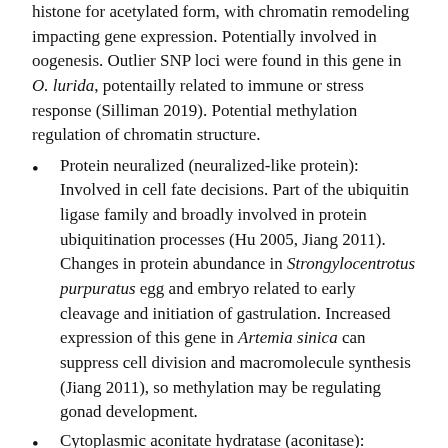histone for acetylated form, with chromatin remodeling impacting gene expression. Potentially involved in oogenesis. Outlier SNP loci were found in this gene in O. lurida, potentailly related to immune or stress response (Silliman 2019). Potential methylation regulation of chromatin structure.
Protein neuralized (neuralized-like protein): Involved in cell fate decisions. Part of the ubiquitin ligase family and broadly involved in protein ubiquitination processes (Hu 2005, Jiang 2011). Changes in protein abundance in Strongylocentrotus purpuratus egg and embryo related to early cleavage and initiation of gastrulation. Increased expression of this gene in Artemia sinica can suppress cell division and macromolecule synthesis (Jiang 2011), so methylation may be regulating gonad development.
Cytoplasmic aconitate hydratase (aconitase): Catalyzes part of the TCA cycle. Found in C.